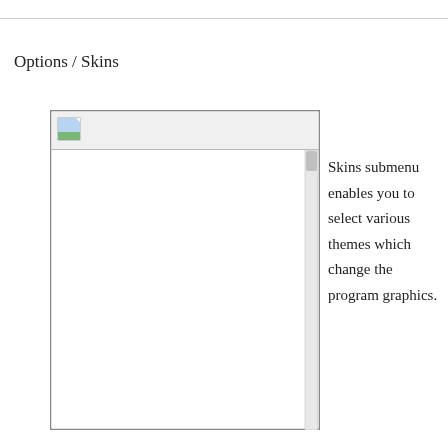Options / Skins
[Figure (screenshot): A dialog or panel window with a gray border. The top bar contains a small image icon on the left side and a horizontal separator below it. The main area of the window is empty/white.]
Skins submenu enables you to select various themes which change the program graphics.